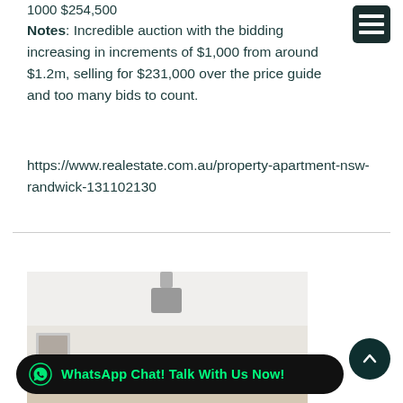1000 $254,500
Notes: Incredible auction with the bidding increasing in increments of $1,000 from around $1.2m, selling for $231,000 over the price guide and too many bids to count.
https://www.realestate.com.au/property-apartment-nsw-randwick-131102130
[Figure (photo): Interior photo of an apartment living room with a ceiling light fixture, framed artwork on walls, furniture and plants visible]
WhatsApp Chat! Talk With Us Now!